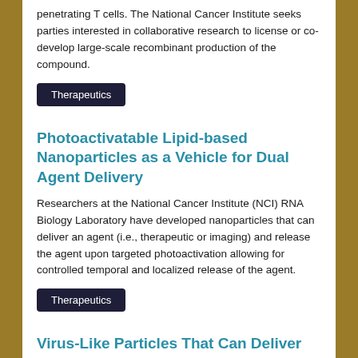penetrating T cells. The National Cancer Institute seeks parties interested in collaborative research to license or co-develop large-scale recombinant production of the compound.
Therapeutics
Photoactivatable Lipid-based Nanoparticles as a Vehicle for Dual Agent Delivery
Researchers at the National Cancer Institute (NCI) RNA Biology Laboratory have developed nanoparticles that can deliver an agent (i.e., therapeutic or imaging) and release the agent upon targeted photoactivation allowing for controlled temporal and localized release of the agent.
Therapeutics
Virus-Like Particles That Can Deliver Proteins and RNAs